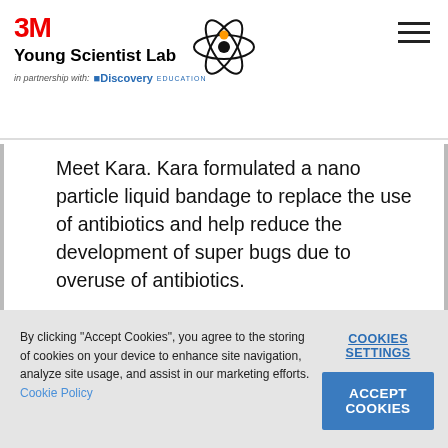3M Young Scientist Lab — in partnership with Discovery Education
Meet Kara. Kara formulated a nano particle liquid bandage to replace the use of antibiotics and help reduce the development of super bugs due to overuse of antibiotics.
By clicking "Accept Cookies", you agree to the storing of cookies on your device to enhance site navigation, analyze site usage, and assist in our marketing efforts. Cookie Policy
COOKIES SETTINGS
ACCEPT COOKIES